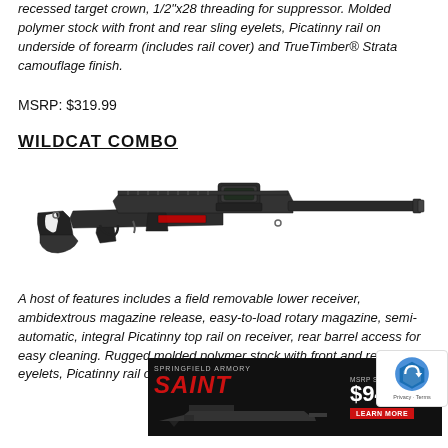recessed target crown, 1/2"x28 threading for suppressor. Molded polymer stock with front and rear sling eyelets, Picatinny rail on underside of forearm (includes rail cover) and TrueTimber® Strata camouflage finish.
MSRP: $319.99
WILDCAT COMBO
[Figure (photo): Photo of a black semi-automatic rifle (Wildcat Combo) with a red dot sight mounted on the Picatinny rail, shown in profile against a white background.]
A host of features includes a field removable lower receiver, ambidextrous magazine release, easy-to-load rotary magazine, semi-automatic, integral Picatinny top rail on receiver, rear barrel access for easy cleaning. Rugged molded polymer stock with front and rear sling eyelets, Picatinny rail on underside of forearm (includes rail cover), multiple [magazine capacity] and [additional features] and [more]...
[Figure (photo): Springfield Armory SAINT advertisement overlay showing a black AR-style rifle with text 'MSRP STARTING AT $943' and 'LEARN MORE' button.]
[Figure (other): Google reCAPTCHA badge with logo and Privacy/Terms text.]